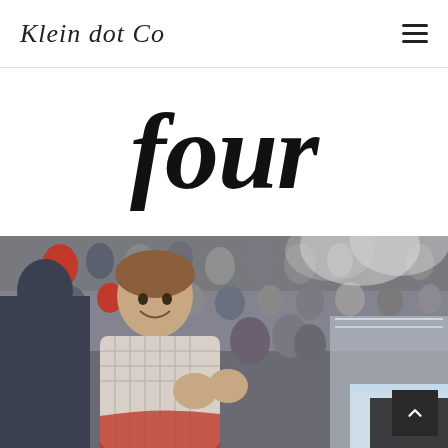Klein dot Co
four
[Figure (photo): A young boy clapping enthusiastically at a hockey game, seated close to the ice rink boards. Crowd of spectators visible in the background, along with smoke/fog effects near the ice. The rink boards and glass are visible to the right.]